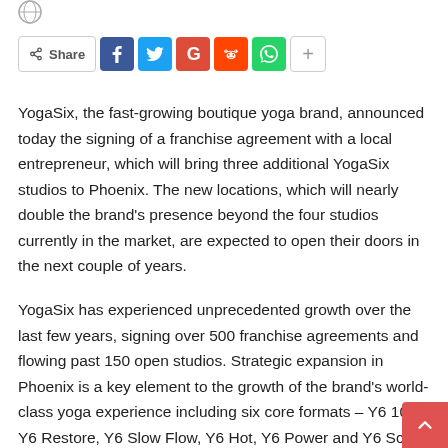[Figure (logo): Small globe/logo icon in top left corner]
[Figure (infographic): Share bar with Share button and social icons: Facebook (blue), Twitter (light blue), Google+ (red), Reddit (orange-red), WhatsApp (green), and a plus button]
YogaSix, the fast-growing boutique yoga brand, announced today the signing of a franchise agreement with a local entrepreneur, which will bring three additional YogaSix studios to Phoenix. The new locations, which will nearly double the brand's presence beyond the four studios currently in the market, are expected to open their doors in the next couple of years.
YogaSix has experienced unprecedented growth over the last few years, signing over 500 franchise agreements and flowing past 150 open studios. Strategic expansion in Phoenix is a key element to the growth of the brand's world-class yoga experience including six core formats – Y6 101, Y6 Restore, Y6 Slow Flow, Y6 Hot, Y6 Power and Y6 Sculpt Flow – meant to